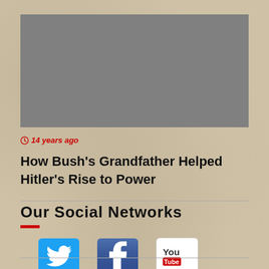[Figure (photo): Gray placeholder image rectangle]
14 years ago
How Bush's Grandfather Helped Hitler's Rise to Power
Our Social Networks
[Figure (logo): Twitter, Facebook, and YouTube social media icons]